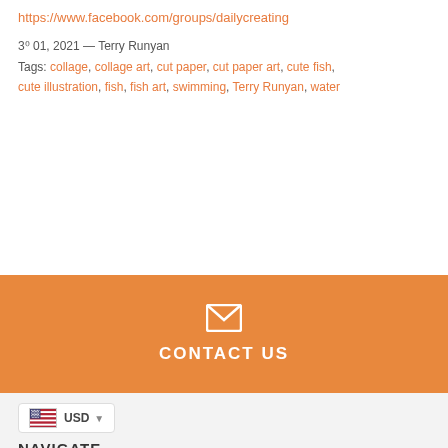https://www.facebook.com/groups/dailycreating
3⁰ 01, 2021 — Terry Runyan
Tags: collage, collage art, cut paper, cut paper art, cute fish, cute illustration, fish, fish art, swimming, Terry Runyan, water
CONTACT US
USD
NAVIGATE